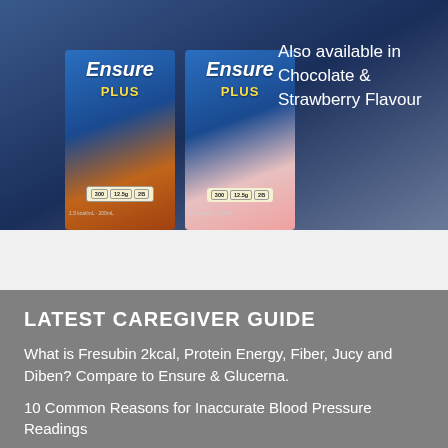[Figure (photo): Advertisement photo showing two Ensure Plus product boxes (chocolate and strawberry flavors) on a dark blue gradient background, with text 'Also available in Chocolate & Strawberry Flavour' in white on the right side.]
LATEST CAREGIVER GUIDE
What is Fresubin 2kcal, Protein Energy, Fiber, Jucy and Diben? Compare to Ensure & Glucerna.
10 Common Reasons for Inaccurate Blood Pressure Readings
Your Best Blood Glucose Guide in 2022